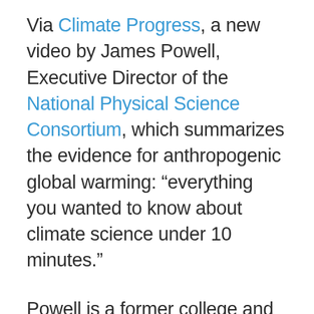Via Climate Progress, a new video by James Powell, Executive Director of the National Physical Science Consortium, which summarizes the evidence for anthropogenic global warming: “everything you wanted to know about climate science under 10 minutes.”
Powell is a former college and museum president.  President Reagan and later, President